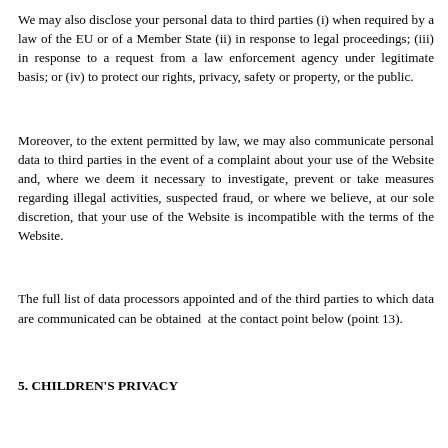We may also disclose your personal data to third parties (i) when required by a law of the EU or of a Member State (ii) in response to legal proceedings; (iii) in response to a request from a law enforcement agency under legitimate basis; or (iv) to protect our rights, privacy, safety or property, or the public.
Moreover, to the extent permitted by law, we may also communicate personal data to third parties in the event of a complaint about your use of the Website and, where we deem it necessary to investigate, prevent or take measures regarding illegal activities, suspected fraud, or where we believe, at our sole discretion, that your use of the Website is incompatible with the terms of the Website.
The full list of data processors appointed and of the third parties to which data are communicated can be obtained  at the contact point below (point 13).
5. CHILDREN'S PRIVACY